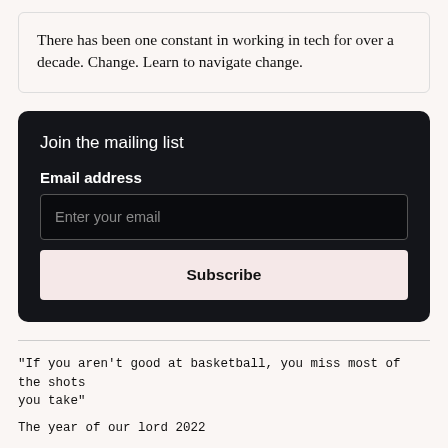There has been one constant in working in tech for over a decade. Change. Learn to navigate change.
Join the mailing list
Email address
Enter your email
Subscribe
“If you aren’t good at basketball, you miss most of the shots you take”
The year of our lord 2022